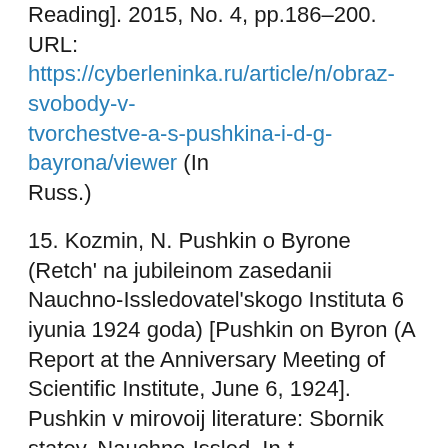Reading]. 2015, No. 4, pp.186–200. URL: https://cyberleninka.ru/article/n/obraz-svobody-v-tvorchestve-a-s-pushkina-i-d-g-bayrona/viewer (In Russ.)
15. Kozmin, N. Pushkin o Byrone (Retch' na jubileinom zasedanii Nauchno-Issledovatel'skogo Instituta 6 iyunia 1924 goda) [Pushkin on Byron (A Report at the Anniversary Meeting of Scientific Institute, June 6, 1924]. Pushkin v mirovoij literature: Sbornik statey. Nauchno-Issled. In-t sravnitel'nogo izuchenia literatur Zapada i Vostoka pri Leningradskom gos. un-te [Pushkin in World Literature: Collected Articles. Scientific Institute of Comparative Studies and Languages of West and East at the Leningrad State Univ]. St. Petersburg, State Publ., 1926, pp. 99–112. URL: http://lib.pushkinskiidom.ru/LinkClick.aspx?